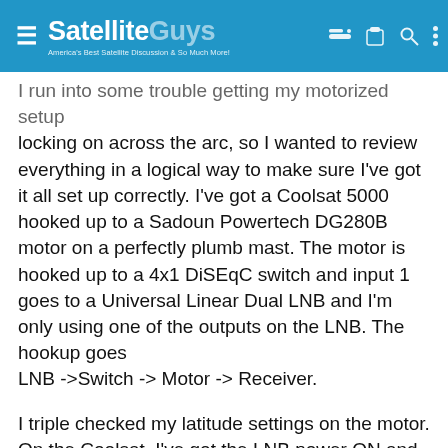≡ SatelliteGuys — America's Best Satellite Discussion & So Much More!
I run into some trouble getting my motorized setup locking on across the arc, so I wanted to review everything in a logical way to make sure I've got it all set up correctly. I've got a Coolsat 5000 hooked up to a Sadoun Powertech DG280B motor on a perfectly plumb mast. The motor is hooked up to a 4x1 DiSEqC switch and input 1 goes to a Universal Linear Dual LNB and I'm only using one of the outputs on the LNB. The hookup goes
LNB ->Switch -> Motor -> Receiver.
I triple checked my latitude settings on the motor. On the Coolsat, I've got the LNB power ON and the type set to UNIVERSAL. The line that says 22KHz says AUTO. In the motorized menu, I have the latitude and longitude settings right (I triple checked those also). Does all that sound right? And what should the lines about the motor be...? Also, should I have to manually...